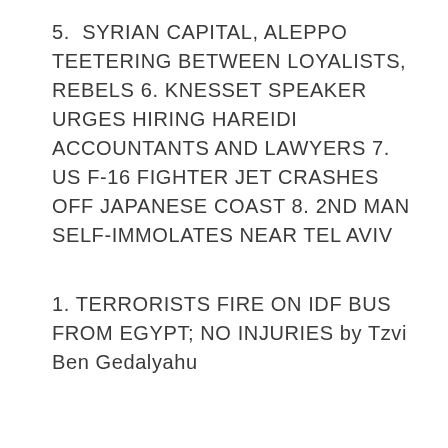5.  SYRIAN CAPITAL, ALEPPO TEETERING BETWEEN LOYALISTS, REBELS 6. KNESSET SPEAKER URGES HIRING HAREIDI ACCOUNTANTS AND LAWYERS 7. US F-16 FIGHTER JET CRASHES OFF JAPANESE COAST 8. 2ND MAN SELF-IMMOLATES NEAR TEL AVIV
1. TERRORISTS FIRE ON IDF BUS FROM EGYPT; NO INJURIES by Tzvi Ben Gedalyahu